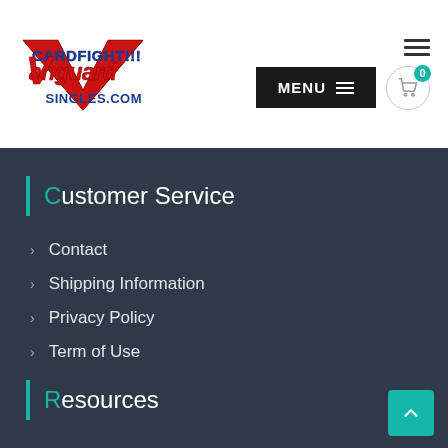[Figure (logo): Cardfight Vanguard Singles.com logo with red and blue stylized text]
[Figure (screenshot): Navigation header with hamburger menu icon, MENU button in black, and cart icon with 0 badge in teal]
Customer Service
Contact
Shipping Information
Privacy Policy
Term of Use
Resources